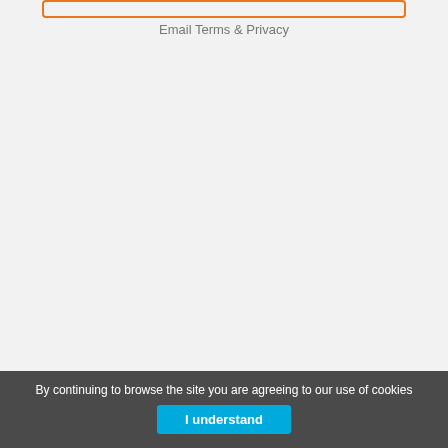[Figure (other): Orange outlined button/input field at the top of the page]
Email Terms & Privacy
By continuing to browse the site you are agreeing to our use of cookies
I understand